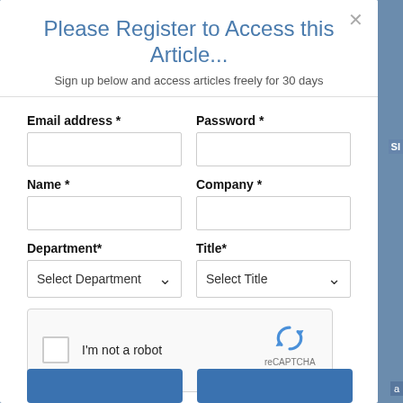Please Register to Access this Article...
Sign up below and access articles freely for 30 days
Email address *
Password *
Name *
Company *
Department*
Title*
Select Department
Select Title
I'm not a robot
reCAPTCHA Privacy · Terms